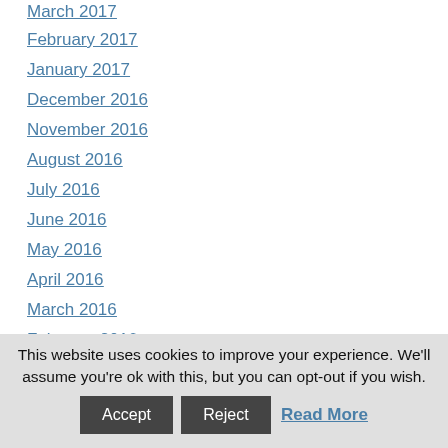March 2017
February 2017
January 2017
December 2016
November 2016
August 2016
July 2016
June 2016
May 2016
April 2016
March 2016
February 2016
January 2016
December 2015
November 2015
This website uses cookies to improve your experience. We'll assume you're ok with this, but you can opt-out if you wish.
Accept | Reject | Read More